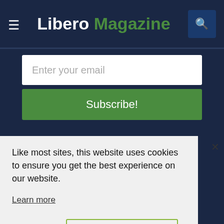Libero Magazine
Enter your email
Subscribe!
Like most sites, this website uses cookies to ensure you get the best experience on our website.
Learn more
Decline
Accept
professionals before making any changes to